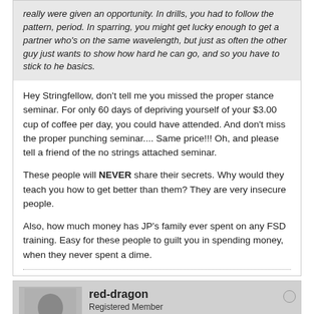really were given an opportunity. In drills, you had to follow the pattern, period. In sparring, you might get lucky enough to get a partner who's on the same wavelength, but just as often the other guy just wants to show how hard he can go, and so you have to stick to he basics.
Hey Stringfellow, don't tell me you missed the proper stance seminar. For only 60 days of depriving yourself of your $3.00 cup of coffee per day, you could have attended. And don't miss the proper punching seminar.... Same price!!! Oh, and please tell a friend of the no strings attached seminar.

These people will NEVER share their secrets. Why would they teach you how to get better than them? They are very insecure people.

Also, how much money has JP's family ever spent on any FSD training. Easy for these people to guilt you in spending money, when they never spent a dime.
red-dragon
Registered Member
Join Date: Feb 2006   Posts: 74
Style: MA
4/07/2006 4:25pm,
#650